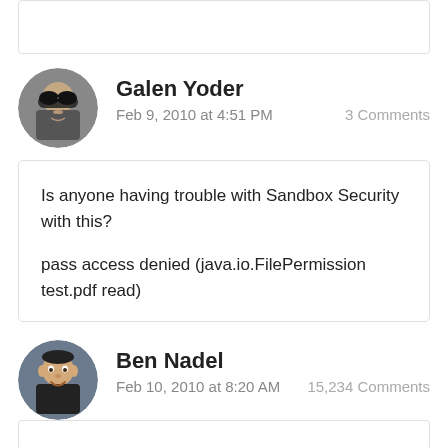Galen Yoder
Feb 9, 2010 at 4:51 PM   3 Comments
Is anyone having trouble with Sandbox Security with this?

pass access denied (java.io.FilePermission test.pdf read)
Ben Nadel
Feb 10, 2010 at 8:20 AM   15,234 Comments